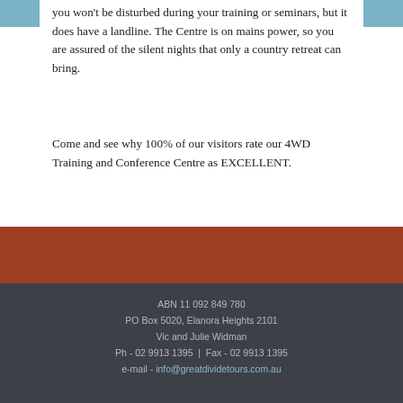you won't be disturbed during your training or seminars, but it does have a landline. The Centre is on mains power, so you are assured of the silent nights that only a country retreat can bring.
Come and see why 100% of our visitors rate our 4WD Training and Conference Centre as EXCELLENT.
ABN 11 092 849 780
PO Box 5020, Elanora Heights 2101
Vic and Julie Widman
Ph - 02 9913 1395  |  Fax - 02 9913 1395
e-mail - info@greatdividetours.com.au